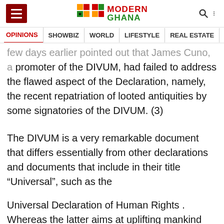Modern Ghana - Navigation header with hamburger menu, logo, search and more icons
OPINIONS | SHOWBIZ | WORLD | LIFESTYLE | REAL ESTATE | MEDIA
few days earlier pointed out that James Cuno, a promoter of the DIVUM, had failed to address the flawed aspect of the Declaration, namely, the recent repatriation of looted antiquities by some signatories of the DIVUM. (3)
The DIVUM is a very remarkable document that differs essentially from other declarations and documents that include in their title “Universal”, such as the
Universal Declaration of Human Rights . Whereas the latter aims at uplifting mankind from the miserable and abject conditions into which it has been plunged by